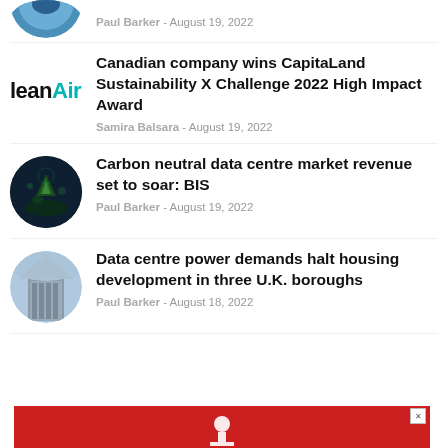[Figure (photo): Partial circular thumbnail image cropped at top, showing a blue circular photo (cut off at top of page)]
Paul Barker - August 19, 2022
[Figure (logo): leanAir.co logo with lean in black bold and Air in teal/cyan]
Canadian company wins CapitaLand Sustainability X Challenge 2022 High Impact Award
Samira Balsara - August 19, 2022
[Figure (photo): Circular thumbnail showing a glowing green plant/bonsai on dark background]
Carbon neutral data centre market revenue set to soar: BIS
Paul Barker - August 19, 2022
[Figure (photo): Circular thumbnail showing a data centre building with sky background]
Data centre power demands halt housing development in three U.K. boroughs
Paul Barker - August 18, 2022
[Figure (photo): Red advertisement banner at bottom with white figure icon and close X button]